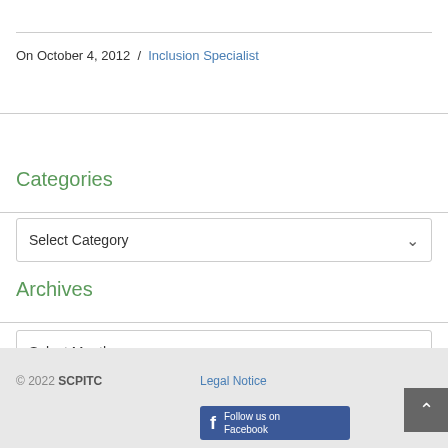On October 4, 2012 / Inclusion Specialist
Categories
Select Category
Archives
Select Month
© 2022 SCPITC  Legal Notice  Follow us on Facebook